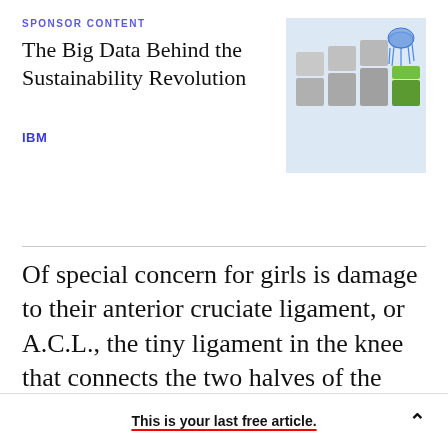SPONSOR CONTENT
The Big Data Behind the Sustainability Revolution
IBM
[Figure (illustration): 3D rendered image of grey cubic blocks with one green block being touched by a blue wireframe hand pointing down]
Of special concern for girls is damage to their anterior cruciate ligament, or A.C.L., the tiny ligament in the knee that connects the two halves of the leg. Female athletes are four or five times more likely than male athletes to have A.C.L tears, says Dr. William Levine, the director of sports
This is your last free article.